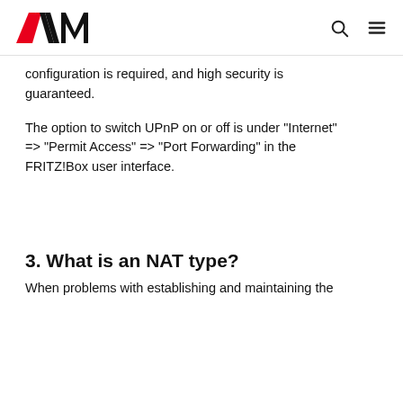AVM
configuration is required, and high security is guaranteed.
The option to switch UPnP on or off is under "Internet" => "Permit Access" => "Port Forwarding" in the FRITZ!Box user interface.
3. What is an NAT type?
When problems with establishing and maintaining the